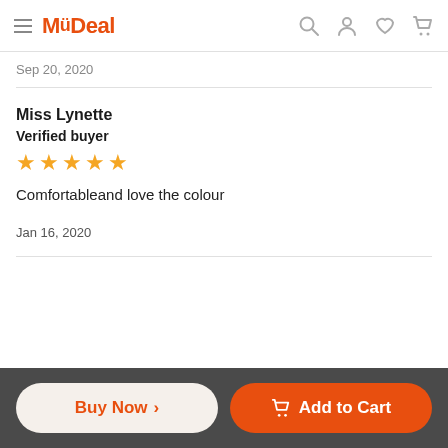MyDeal
Sep 20, 2020
Miss Lynette
Verified buyer
★★★★★
Comfortableand love the colour
Jan 16, 2020
Buy Now  >    Add to Cart